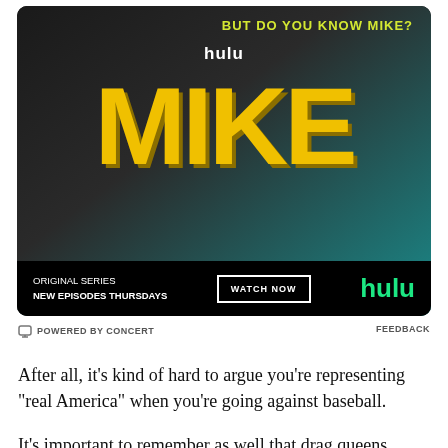[Figure (illustration): Hulu advertisement for the original series 'MIKE'. Features a dark background with a person's face, large yellow block letters spelling 'MIKE', the text 'BUT DO YOU KNOW MIKE?' in yellow at top right, 'hulu' in white above the title, and at the bottom: 'ORIGINAL SERIES NEW EPISODES THURSDAYS', a 'WATCH NOW' button, and the green Hulu logo.]
POWERED BY CONCERT    FEEDBACK
After all, it’s kind of hard to argue you’re representing “real America” when you’re going against baseball.
It’s important to remember as well that drag queens represent only one segment of the LGBTQ rainbow. For example, some members of the transgender community object to what they believe is a caricature